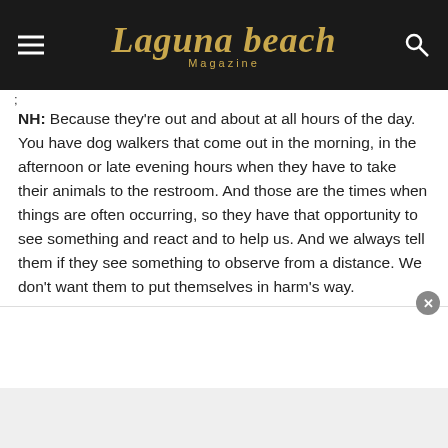Laguna Beach Magazine
NH: Because they're out and about at all hours of the day. You have dog walkers that come out in the morning, in the afternoon or late evening hours when they have to take their animals to the restroom. And those are the times when things are often occurring, so they have that opportunity to see something and react and to help us. And we always tell them if they see something to observe from a distance. We don't want them to put themselves in harm's way.
Who can get involved in this?